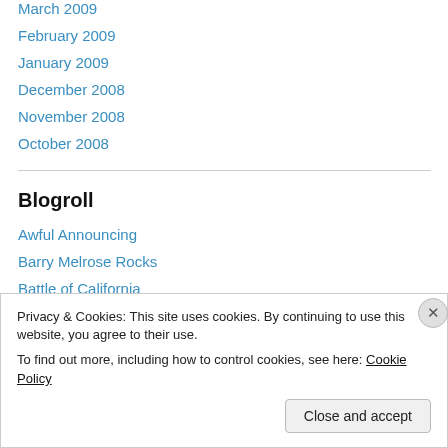March 2009
February 2009
January 2009
December 2008
November 2008
October 2008
Blogroll
Awful Announcing
Barry Melrose Rocks
Battle of California
Privacy & Cookies: This site uses cookies. By continuing to use this website, you agree to their use.
To find out more, including how to control cookies, see here: Cookie Policy